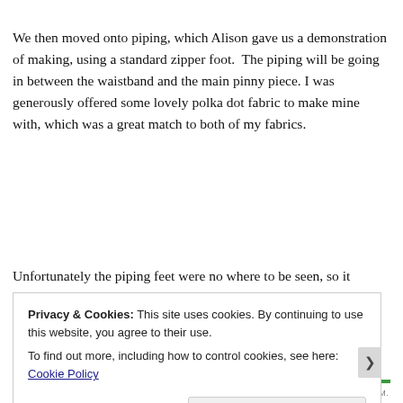We then moved onto piping, which Alison gave us a demonstration of making, using a standard zipper foot. The piping will be going in between the waistband and the main pinny piece. I was generously offered some lovely polka dot fabric to make mine with, which was a great match to both of my fabrics.
Unfortunately the piping feet were no where to be seen, so it
Privacy & Cookies: This site uses cookies. By continuing to use this website, you agree to their use.
To find out more, including how to control cookies, see here: Cookie Policy
Close and accept